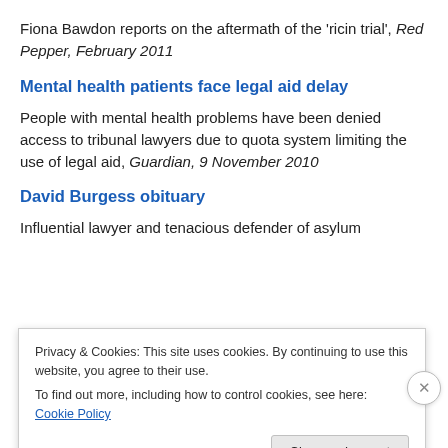Fiona Bawdon reports on the aftermath of the ‘ricin trial’, Red Pepper, February 2011
Mental health patients face legal aid delay
People with mental health problems have been denied access to tribunal lawyers due to quota system limiting the use of legal aid, Guardian, 9 November 2010
David Burgess obituary
Influential lawyer and tenacious defender of asylum
Privacy & Cookies: This site uses cookies. By continuing to use this website, you agree to their use.
To find out more, including how to control cookies, see here: Cookie Policy